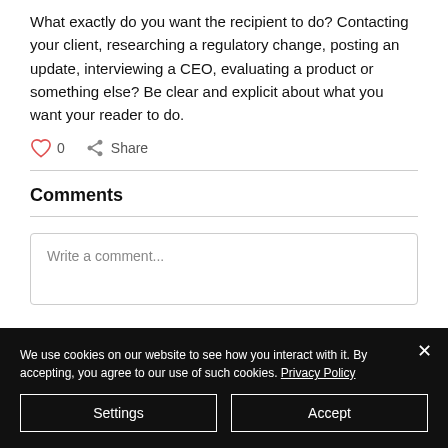What exactly do you want the recipient to do? Contacting your client, researching a regulatory change, posting an update, interviewing a CEO, evaluating a product or something else? Be clear and explicit about what you want your reader to do.
0  Share
Comments
Write a comment...
We use cookies on our website to see how you interact with it. By accepting, you agree to our use of such cookies. Privacy Policy
Settings
Accept